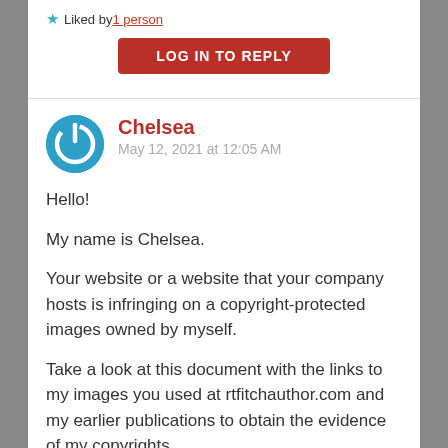Liked by 1 person
LOG IN TO REPLY
Chelsea
May 12, 2021 at 12:05 AM
Hello!
My name is Chelsea.
Your website or a website that your company hosts is infringing on a copyright-protected images owned by myself.
Take a look at this document with the links to my images you used at rtfitchauthor.com and my earlier publications to obtain the evidence of my copyrights.
Download it now and check this out for yourself: